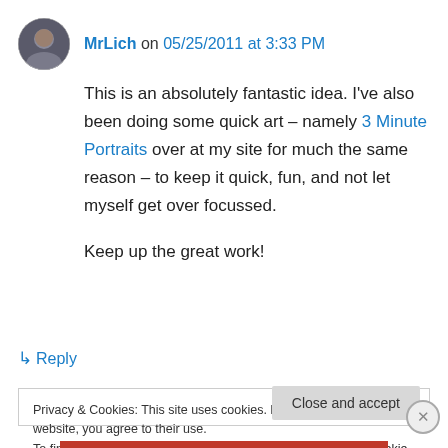[Figure (photo): Circular avatar photo of user MrLich]
MrLich on 05/25/2011 at 3:33 PM
This is an absolutely fantastic idea. I've also been doing some quick art – namely 3 Minute Portraits over at my site for much the same reason – to keep it quick, fun, and not let myself get over focussed.
Keep up the great work!
↳ Reply
Privacy & Cookies: This site uses cookies. By continuing to use this website, you agree to their use.
To find out more, including how to control cookies, see here: Cookie Policy
Close and accept